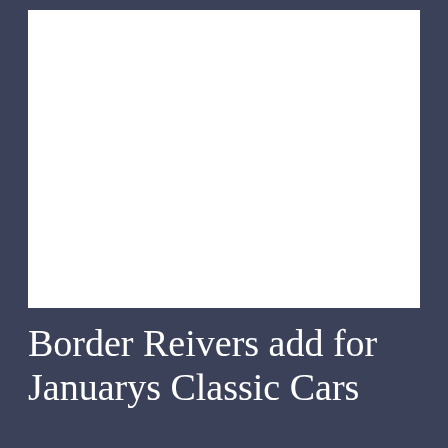[Figure (photo): Large white rectangular photo placeholder area on a dark blue-grey background]
Border Reivers add for Januarys Classic Cars